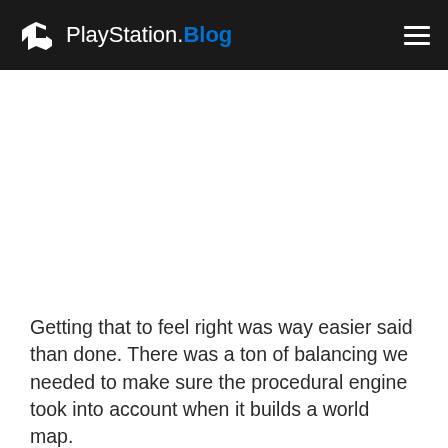PlayStation.Blog
Getting that to feel right was way easier said than done. There was a ton of balancing we needed to make sure the procedural engine took into account when it builds a world map.